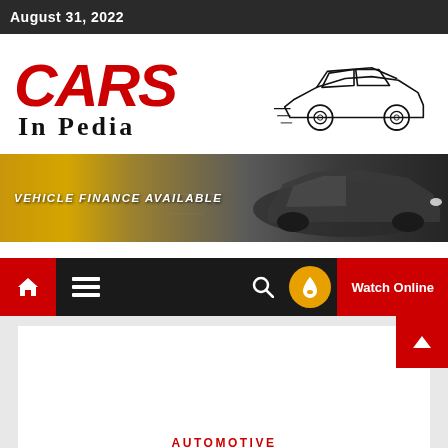August 31, 2022
[Figure (logo): Cars In Pedia logo with red italic bold CARS text and car sketch outline]
[Figure (infographic): Banner advertisement: VEHICLE FINANCE AVAILABLE with gold gradient background and dark car photo]
[Figure (screenshot): Navigation bar with home icon, hamburger menu, search icon, orange flame circle button, and red Watch Online button]
AUTOMOTIVE